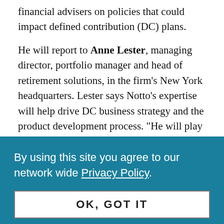financial advisers on policies that could impact defined contribution (DC) plans.
He will report to Anne Lester, managing director, portfolio manager and head of retirement solutions, in the firm's New York headquarters. Lester says Notto's expertise will help drive DC business strategy and the product development process. “He will play a key role in simplifying complex ERISA requirements for the plan sponsors and financial advisers we work with through white papers,
By using this site you agree to our network wide Privacy Policy.
OK, GOT IT